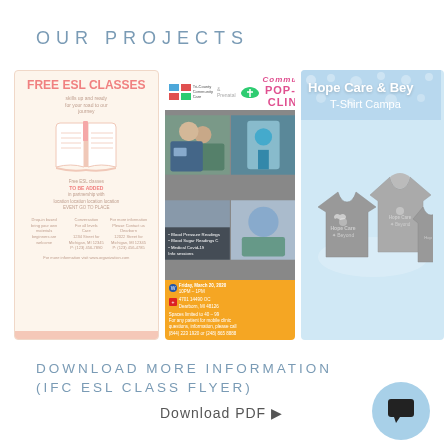OUR PROJECTS
[Figure (illustration): Three project cards side by side: (1) Free ESL Classes flyer with book graphic on cream background, (2) Community Pop-Up Clinic flyer with medical photos and orange info section, (3) Hope Care & Beyond T-Shirt Campaign on blue background with shirt images]
DOWNLOAD MORE INFORMATION (IFC ESL CLASS FLYER)
Download PDF ▶